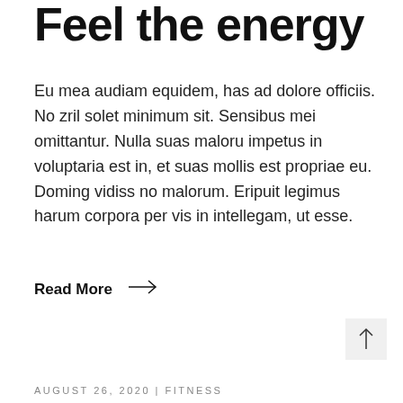Feel the energy
Eu mea audiam equidem, has ad dolore officiis. No zril solet minimum sit. Sensibus mei omittantur. Nulla suas maloru impetus in voluptaria est in, et suas mollis est propriae eu. Doming vidiss no malorum. Eripuit legimus harum corpora per vis in intellegam, ut esse.
Read More →
AUGUST 26, 2020 | FITNESS